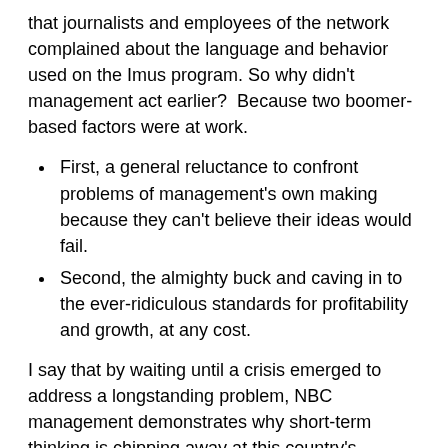that journalists and employees of the network complained about the language and behavior used on the Imus program. So why didn't management act earlier?  Because two boomer-based factors were at work.
First, a general reluctance to confront problems of management's own making because they can't believe their ideas would fail.
Second, the almighty buck and caving in to the ever-ridiculous standards for profitability and growth, at any cost.
I say that by waiting until a crisis emerged to address a longstanding problem, NBC management demonstrates why short-term thinking is chipping away at this country's leadership positions in everything from culture to corporate excellence.
It doesn't matter that the crisis was exacerbated by some